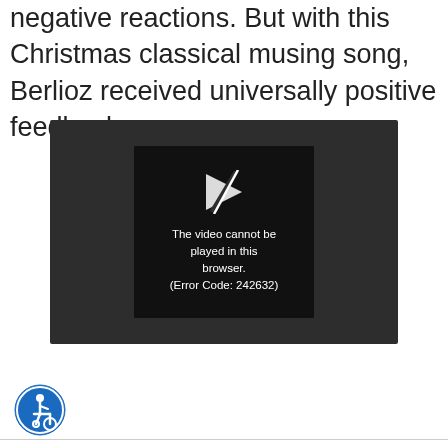negative reactions. But with this Christmas classical musing song, Berlioz received universally positive feedback.
[Figure (screenshot): Video player showing error message: 'The video cannot be played in this browser. (Error Code: 242632)' on a dark background with a broken video icon.]
[Figure (logo): Accessibility icon — blue circle with white wheelchair user symbol.]